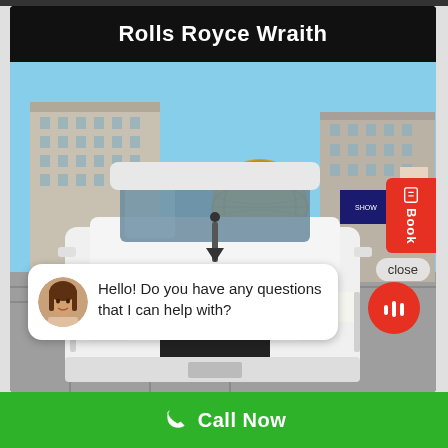Rolls Royce Wraith
[Figure (photo): Front view of a white Rolls Royce Wraith parked in a lot with Las Vegas Strip hotels and the MSG Sphere visible in the background. A chat bubble overlay reads: Hello! Do you have any questions that I can help with?]
Hello! Do you have any questions that I can help with?
Call Now